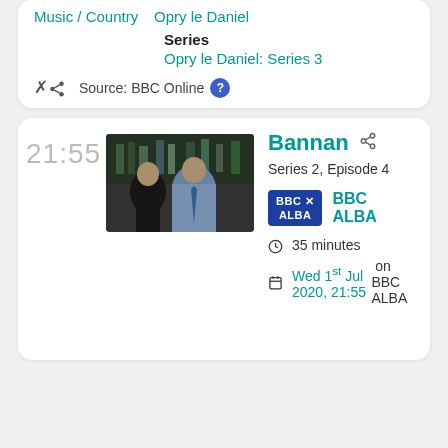Music / Country   Opry le Daniel
Series
Opry le Daniel: Series 3
Source: BBC Online ?
21:55
[Figure (photo): Two people standing, one in black jacket, one in light blue shirt with tie]
Bannan
Series 2, Episode 4
BBC ALBA
35 minutes
Wed 1st Jul 2020, 21:55 on BBC ALBA